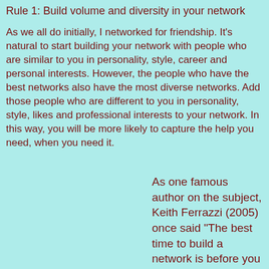Rule 1: Build volume and diversity in your network
As we all do initially, I networked for friendship. It's natural to start building your network with people who are similar to you in personality, style, career and personal interests. However, the people who have the best networks also have the most diverse networks. Add those people who are different to you in personality, style, likes and professional interests to your network. In this way, you will be more likely to capture the help you need, when you need it.
As one famous author on the subject, Keith Ferrazzi (2005) once said "The best time to build a network is before you need it."